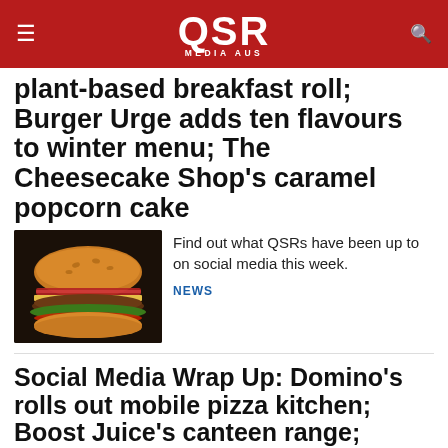QSR MEDIA AUS
plant-based breakfast roll; Burger Urge adds ten flavours to winter menu; The Cheesecake Shop's caramel popcorn cake
[Figure (photo): Close-up photo of a large burger with multiple patties, bacon, lettuce, tomato on a bun]
Find out what QSRs have been up to on social media this week.
NEWS
Social Media Wrap Up: Domino's rolls out mobile pizza kitchen; Boost Juice's canteen range; Sharetea's Kitkat smoothie
[Figure (photo): Photo of a Domino's branded mobile pizza kitchen truck parked outdoors at dusk]
Find out what QSRs have been up to on social media this week.
NEWS